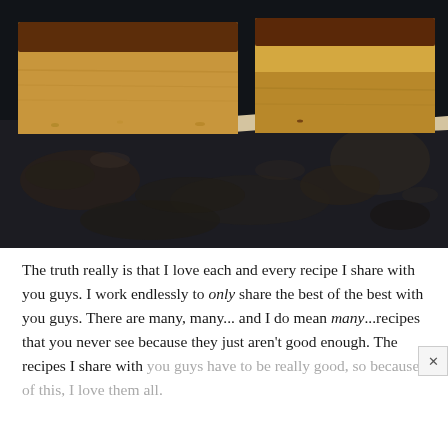[Figure (photo): Close-up photo of chocolate-topped peanut butter bars (similar to Reese's bars) cut into squares, showing layered cross-section with chocolate top layer and golden peanut butter base, resting on parchment paper over a dark, rustic baking sheet or surface.]
The truth really is that I love each and every recipe I share with you guys. I work endlessly to only share the best of the best with you guys. There are many, many... and I do mean many...recipes that you never see because they just aren't good enough. The recipes I share with you guys have to be really good, so because of this, I love them all.